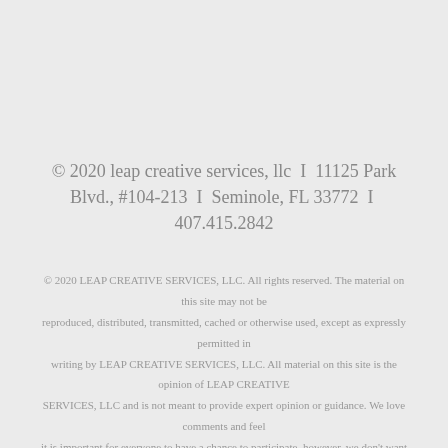© 2020 leap creative services, llc  I  11125 Park Blvd., #104-213  I  Seminole, FL 33772  I  407.415.2842
© 2020 LEAP CREATIVE SERVICES, LLC. All rights reserved. The material on this site may not be reproduced, distributed, transmitted, cached or otherwise used, except as expressly permitted in writing by LEAP CREATIVE SERVICES, LLC. All material on this site is the opinion of LEAP CREATIVE SERVICES, LLC and is not meant to provide expert opinion or guidance. We love comments and feel it is important for everyone to have a chance to participate, however, we don't want negative, slanderous, or destructive comments posted, nor will we publish anything looking like spam